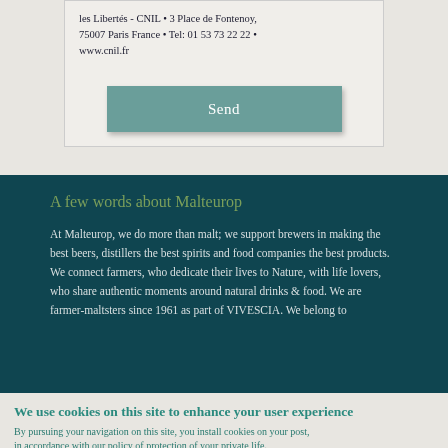les Libertés - CNIL • 3 Place de Fontenoy, 75007 Paris France • Tel: 01 53 73 22 22 • www.cnil.fr
Send
A few words about Malteurop
At Malteurop, we do more than malt; we support brewers in making the best beers, distillers the best spirits and food companies the best products. We connect farmers, who dedicate their lives to Nature, with life lovers, who share authentic moments around natural drinks & food. We are farmer-maltsters since 1961 as part of VIVESCIA. We belong to
We use cookies on this site to enhance your user experience
By pursuing your navigation on this site, you install cookies on your post, in accordance with our policy of protection of your private life.